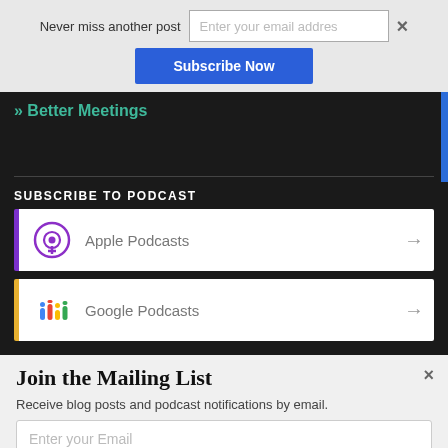Never miss another post
Enter your email addres
Subscribe Now
» Better Meetings
SUBSCRIBE TO PODCAST
Apple Podcasts
Google Podcasts
Join the Mailing List
Receive blog posts and podcast notifications by email.
Enter your Email